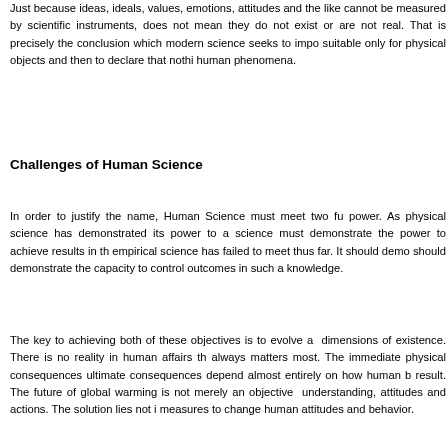Just because ideas, ideals, values, emotions, attitudes and the like cannot be measured by scientific instruments, does not mean they do not exist or are not real. That is precisely the conclusion which modern science seeks to impose—to define science as suitable only for physical objects and then to declare that nothing else is real, including human phenomena.
Challenges of Human Science
In order to justify the name, Human Science must meet two fundamental tests of power. As physical science has demonstrated its power to achieve results, human science must demonstrate the power to achieve results in the social field that empirical science has failed to meet thus far. It should demonstrate predict and should demonstrate the capacity to control outcomes in such a way as to generate knowledge.
The key to achieving both of these objectives is to evolve a science of all dimensions of existence. There is no reality in human affairs that the human element always matters most. The immediate physical consequences and the ultimate consequences depend almost entirely on how human beings understand, choose and result. The future of global warming is not merely an objective fact. It depends on human understanding, attitudes and actions. The solution lies not in technology but in measures to change human attitudes and behavior.